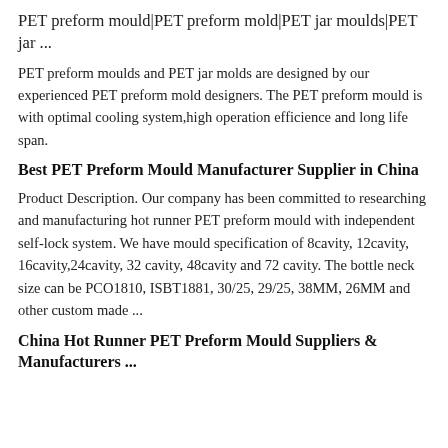PET preform mould|PET preform mold|PET jar moulds|PET jar ...
PET preform moulds and PET jar molds are designed by our experienced PET preform mold designers. The PET preform mould is with optimal cooling system,high operation efficience and long life span.
Best PET Preform Mould Manufacturer Supplier in China
Product Description. Our company has been committed to researching and manufacturing hot runner PET preform mould with independent self-lock system. We have mould specification of 8cavity, 12cavity, 16cavity,24cavity, 32 cavity, 48cavity and 72 cavity. The bottle neck size can be PCO1810, ISBT1881, 30/25, 29/25, 38MM, 26MM and other custom made ...
China Hot Runner PET Preform Mould Suppliers & Manufacturers ...